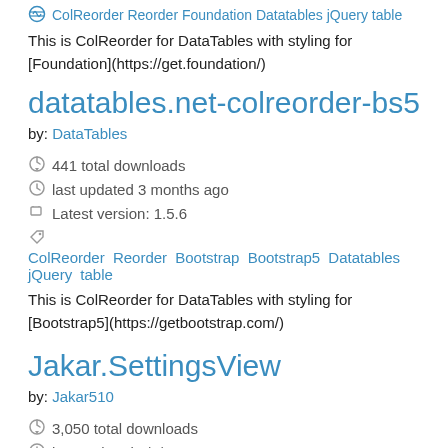ColReorder Reorder Foundation Datatables jQuery table (link at top)
This is ColReorder for DataTables with styling for [Foundation](https://get.foundation/)
datatables.net-colreorder-bs5
by: DataTables
441 total downloads
last updated 3 months ago
Latest version: 1.5.6
ColReorder Reorder Bootstrap Bootstrap5 Datatables jQuery table
This is ColReorder for DataTables with styling for [Bootstrap5](https://getbootstrap.com/)
Jakar.SettingsView
by: Jakar510
3,050 total downloads
last updated 9/3/2020
Latest version: 1.0.6